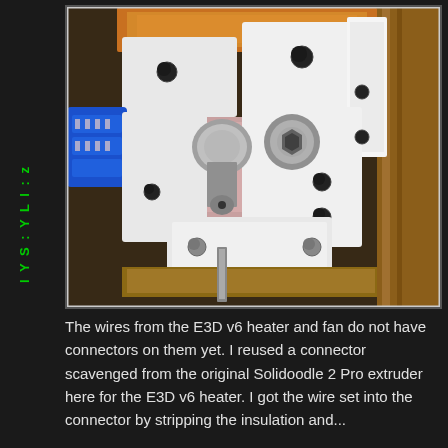[Figure (photo): Close-up photo of a 3D printer E3D v6 hotend assembly mounted on what appears to be a Solidoodle 2 Pro printer frame. The assembly shows white printed plastic mounts, metal heat block components, nozzle, and a blue electrical connector visible on the left side. Metal rods and screws are visible throughout.]
The wires from the E3D v6 heater and fan do not have connectors on them yet. I reused a connector scavenged from the original Solidoodle 2 Pro extruder here for the E3D v6 heater. I got the wire set into the connector by stripping the insulation and...